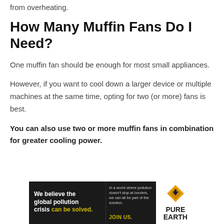from overheating.
How Many Muffin Fans Do I Need?
One muffin fan should be enough for most small appliances.
However, if you want to cool down a larger device or multiple machines at the same time, opting for two (or more) fans is best.
You can also use two or more muffin fans in combination for greater cooling power.
[Figure (advertisement): Pure Earth advertisement banner. Black background on left reading 'We believe the global pollution crisis can be solved.' with tagline text and JOIN US call to action. White section on right with Pure Earth diamond logo and PURE EARTH text.]